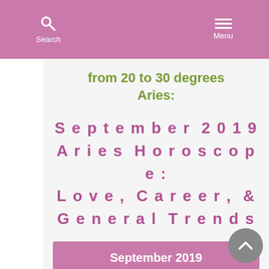Search  Menu
from 20 to 30 degrees Aries:
September 2019 Aries Horoscope: Love, Career, & General Trends
September 2019
The Sun this Month: Central Focus, Consciousness